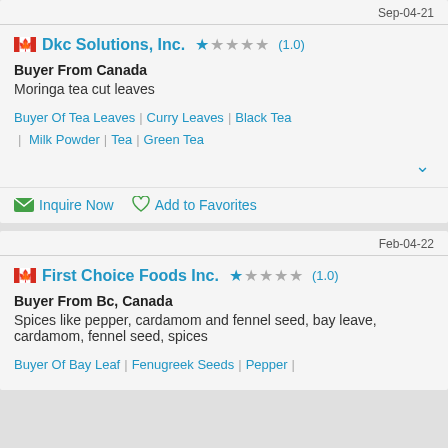Sep-04-21
Dkc Solutions, Inc. ★☆☆☆☆ (1.0)
Buyer From Canada
Moringa tea cut leaves
Buyer Of Tea Leaves | Curry Leaves | Black Tea | Milk Powder | Tea | Green Tea
Inquire Now   Add to Favorites
Feb-04-22
First Choice Foods Inc. ★☆☆☆☆ (1.0)
Buyer From Bc, Canada
Spices like pepper, cardamom and fennel seed, bay leave, cardamom, fennel seed, spices
Buyer Of Bay Leaf | Fenugreek Seeds | Pepper |